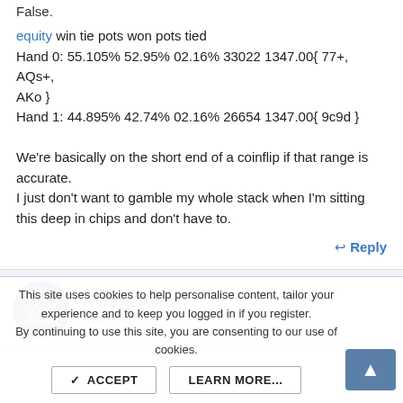False.
equity win tie pots won pots tied
Hand 0: 55.105% 52.95% 02.16% 33022 1347.00{ 77+, AQs+, AKo }
Hand 1: 44.895% 42.74% 02.16% 26654 1347.00{ 9c9d }
We're basically on the short end of a coinflip if that range is accurate.
I just don't want to gamble my whole stack when I'm sitting this deep in chips and don't have to.
Reply
RideN2Aces
Enthusiast
This site uses cookies to help personalise content, tailor your experience and to keep you logged in if you register.
By continuing to use this site, you are consenting to our use of cookies.
ACCEPT
LEARN MORE...